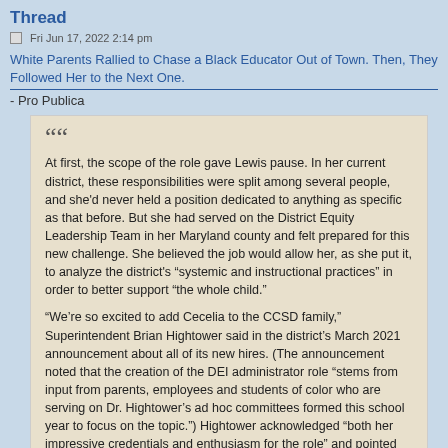Thread
Fri Jun 17, 2022 2:14 pm
White Parents Rallied to Chase a Black Educator Out of Town. Then, They Followed Her to the Next One.
- Pro Publica
At first, the scope of the role gave Lewis pause. In her current district, these responsibilities were split among several people, and she'd never held a position dedicated to anything as specific as that before. But she had served on the District Equity Leadership Team in her Maryland county and felt prepared for this new challenge. She believed the job would allow her, as she put it, to analyze the district's “systemic and instructional practices” in order to better support “the whole child.”

“We’re so excited to add Cecelia to the CCSD family,” Superintendent Brian Hightower said in the district’s March 2021 announcement about all of its new hires. (The announcement noted that the creation of the DEI administrator role “stems from input from parents, employees and students of color who are serving on Dr. Hightower’s ad hoc committees formed this school year to focus on the topic.”) Hightower acknowledged “both her impressive credentials and enthusiasm for the role” and pointed out that, “In four days, she had a DEI action plan for us.”